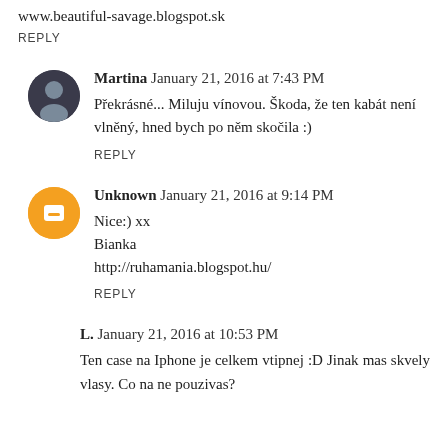www.beautiful-savage.blogspot.sk
REPLY
Martina  January 21, 2016 at 7:43 PM
Překrásné... Miluju vínovou. Škoda, že ten kabát není vlněný, hned bych po něm skočila :)
REPLY
Unknown  January 21, 2016 at 9:14 PM
Nice:) xx
Bianka
http://ruhamania.blogspot.hu/
REPLY
L.  January 21, 2016 at 10:53 PM
Ten case na Iphone je celkem vtipnej :D Jinak mas skvely vlasy. Co na ne pouzivas?